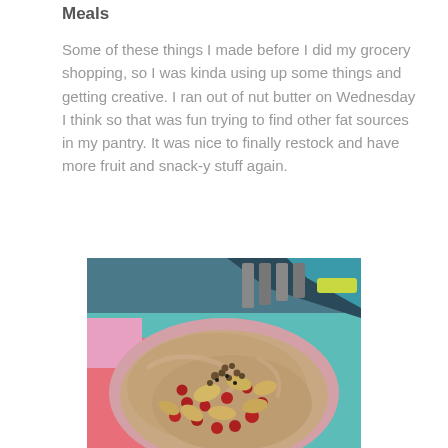Meals
Some of these things I made before I did my grocery shopping, so I was kinda using up some things and getting creative. I ran out of nut butter on Wednesday I think so that was fun trying to find other fat sources in my pantry. It was nice to finally restock and have more fruit and snack-y stuff again.
[Figure (photo): A bowl of smoothie or pudding topped with pomegranate seeds, banana chips, and granola, set on a colorful table surface with a teal/blue background.]